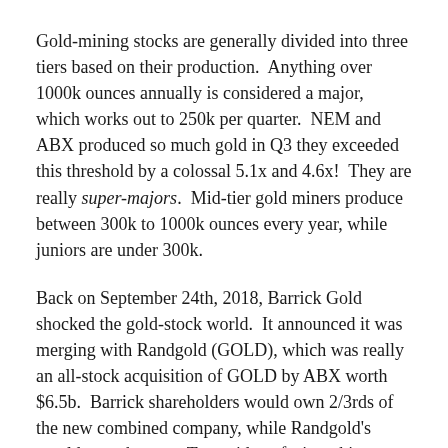Gold-mining stocks are generally divided into three tiers based on their production.  Anything over 1000k ounces annually is considered a major, which works out to 250k per quarter.  NEM and ABX produced so much gold in Q3 they exceeded this threshold by a colossal 5.1x and 4.6x!  They are really super-majors.  Mid-tier gold miners produce between 300k to 1000k ounces every year, while juniors are under 300k.
Back on September 24th, 2018, Barrick Gold shocked the gold-stock world.  It announced it was merging with Randgold (GOLD), which was really an all-stock acquisition of GOLD by ABX worth $6.5b.  Barrick shareholders would own 2/3rds of the new combined company, while Randgold's would own the rest.  To avoid confusion, this essay uses the classic ABX and GOLD stock symbols to represent Barrick and Randgold.
ABX had been Barrick's ticker for decades, but was just recently abandoned on January 2nd.  With this mega-merger